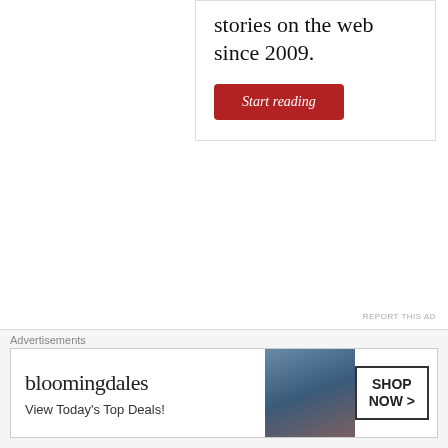stories on the web since 2009.
[Figure (other): Red 'Start reading' button]
REPORT THIS AD
thebookprescription
MAY 25, 2018 AT 9:15 PM
I love your choices Mel! specially The name of the wind which I haven't picked up yet but I have seen you mentioning it many times now & I want to read it now
[Figure (other): Bloomingdale's advertisement banner: 'View Today's Top Deals!' with SHOP NOW button]
Advertisements